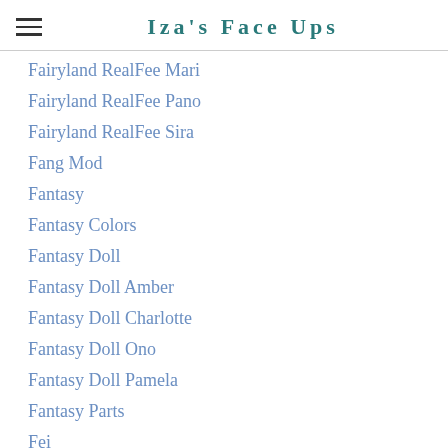Iza's Face Ups
Fairyland RealFee Mari
Fairyland RealFee Pano
Fairyland RealFee Sira
Fang Mod
Fantasy
Fantasy Colors
Fantasy Doll
Fantasy Doll Amber
Fantasy Doll Charlotte
Fantasy Doll Ono
Fantasy Doll Pamela
Fantasy Parts
Fei
Felian
Felixdoll
Felixdoll Brownie Nene
Figma